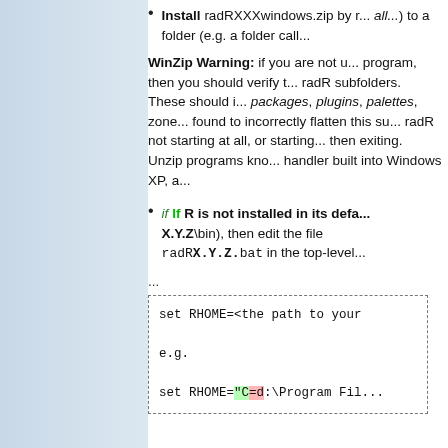Install radRXXXwindows.zip by r... all...) to a folder (e.g. a folder call...
WinZip Warning: if you are not u... program, then you should verify t... radR subfolders. These should i... packages, plugins, palettes, zone... found to incorrectly flatten this su... radR not starting at all, or starting... then exiting. Unzip programs kno... handler built into Windows XP, a...
if If R is not installed in its defa... X.Y.Z\bin), then edit the file radRX.Y.Z.bat in the top-level...
...
set RHOME=<the path to your

e.g.

set RHOME="C=d:\Program Fil...